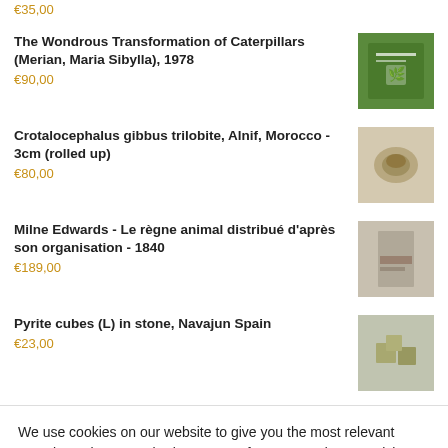€35,00
The Wondrous Transformation of Caterpillars (Merian, Maria Sibylla), 1978
€90,00
Crotalocephalus gibbus trilobite, Alnif, Morocco - 3cm (rolled up)
€80,00
Milne Edwards - Le règne animal distribué d'après son organisation - 1840
€189,00
Pyrite cubes (L) in stone, Navajun Spain
€23,00
We use cookies on our website to give you the most relevant experience by remembering your preferences and repeat visits. By clicking "Accept All", you consent to the use of ALL the cookies. However, you may visit "Cookie Settings" to provide a controlled consent.